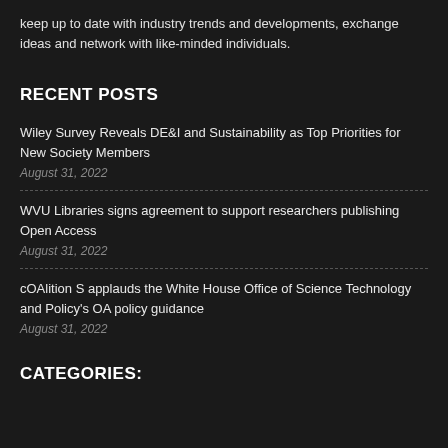keep up to date with industry trends and developments, exchange ideas and network with like-minded individuals.
RECENT POSTS
Wiley Survey Reveals DE&I and Sustainability as Top Priorities for New Society Members
August 31, 2022
WVU Libraries signs agreement to support researchers publishing Open Access
August 31, 2022
cOAlition S applauds the White House Office of Science Technology and Policy's OA policy guidance
August 31, 2022
CATEGORIES: